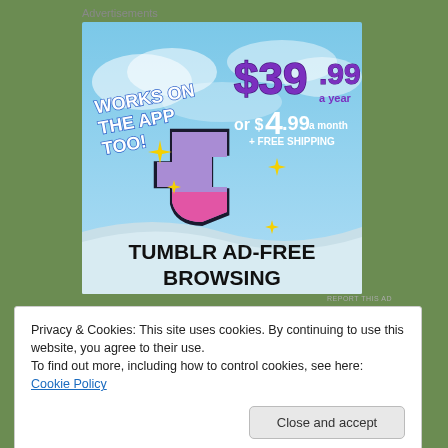Advertisements
[Figure (illustration): Tumblr Ad-Free Browsing advertisement. Sky blue background with clouds. Tumblr 't' logo with sparkles. Text: WORKS ON THE APP TOO!, $39.99 a year or $4.99 a month + FREE SHIPPING. TUMBLR AD-FREE BROWSING.]
REPORT THIS AD
Privacy & Cookies: This site uses cookies. By continuing to use this website, you agree to their use.
To find out more, including how to control cookies, see here: Cookie Policy
Close and accept